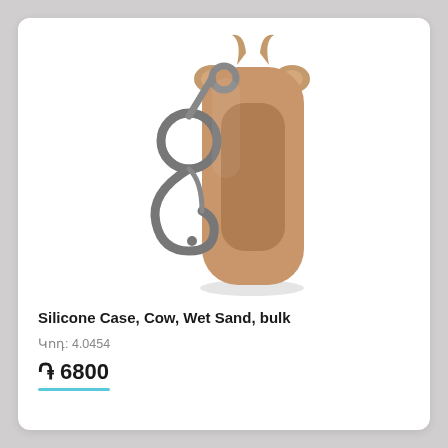[Figure (photo): A silicone case shaped like a cow head (with horns and ears) in a wet sand/tan color, featuring a carabiner/clip hook attachment at the top left. The case has a rounded rectangular cutout in the center. The item is shown against a white background.]
Silicone Case, Cow, Wet Sand, bulk
Կոդ: 4.0454
֏ 6800